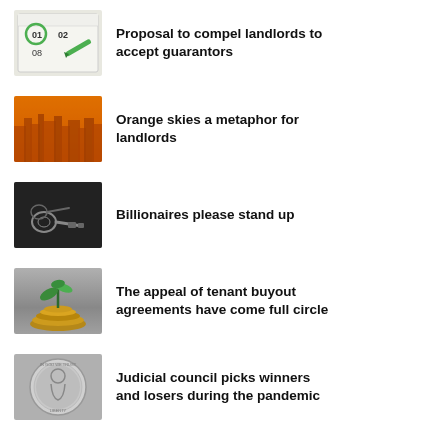[Figure (photo): Calendar with dates 01, 02, 08 visible and a green marker/pencil circling a date]
Proposal to compel landlords to accept guarantors
[Figure (photo): Orange-tinted skyline of a city with hazy sky]
Orange skies a metaphor for landlords
[Figure (photo): Dark image of keys on a surface]
Billionaires please stand up
[Figure (photo): Small plant seedling growing from a pile of coins]
The appeal of tenant buyout agreements have come full circle
[Figure (photo): Close-up of a silver coin with an engraved figure]
Judicial council picks winners and losers during the pandemic